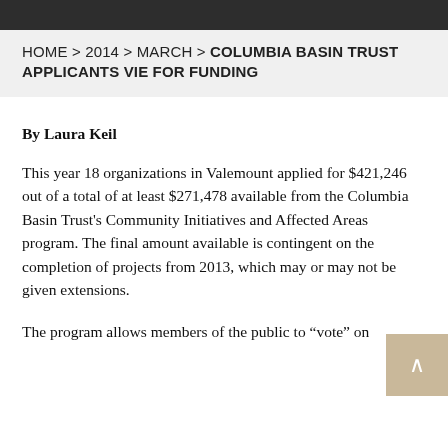HOME > 2014 > MARCH > COLUMBIA BASIN TRUST APPLICANTS VIE FOR FUNDING
By Laura Keil
This year 18 organizations in Valemount applied for $421,246 out of a total of at least $271,478 available from the Columbia Basin Trust's Community Initiatives and Affected Areas program. The final amount available is contingent on the completion of projects from 2013, which may or may not be given extensions.
The program allows members of the public to “vote” on